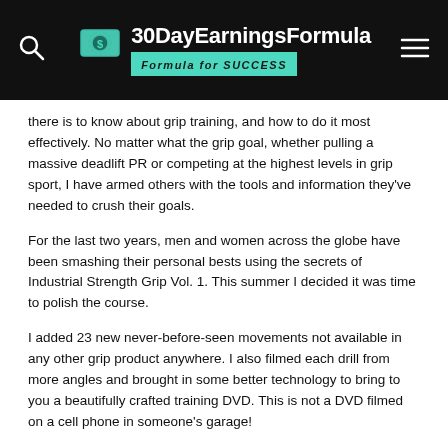30DayEarningsFormula — Formula for SUCCESS
there is to know about grip training, and how to do it most effectively. No matter what the grip goal, whether pulling a massive deadlift PR or competing at the highest levels in grip sport, I have armed others with the tools and information they've needed to crush their goals.
For the last two years, men and women across the globe have been smashing their personal bests using the secrets of Industrial Strength Grip Vol. 1. This summer I decided it was time to polish the course.
I added 23 new never-before-seen movements not available in any other grip product anywhere. I also filmed each drill from more angles and brought in some better technology to bring to you a beautifully crafted training DVD. This is not a DVD filmed on a cell phone in someone's garage!
What EXACTLY will you learn in Industrial Strength Grip Vol 2?